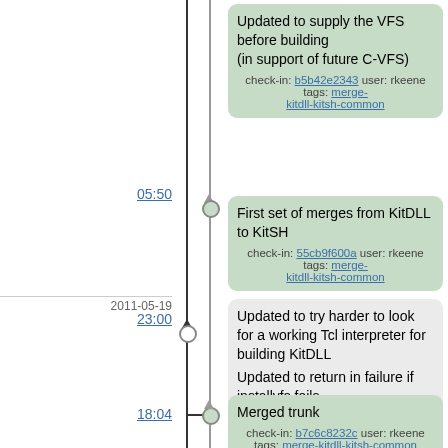Updated to supply the VFS before building (in support of future C-VFS)
check-in: b5b42e2343 user: rkeene tags: merge-kitdll-kitsh-common
05:50
First set of merges from KitDLL to KitSH
check-in: 55cb9f600a user: rkeene tags: merge-kitdll-kitsh-common
2011-05-19
23:00
Updated to try harder to look for a working Tcl interpreter for building KitDLL
Updated to return in failure if installvfs fails
check-in: 3f354ca762 user: rkeene tags: trunk
18:04
Merged trunk
check-in: b7c6c8232c user: rkeene tags: merge-kitdll-kitsh-common
2011-05-17
01:33
Updated to pull user-specified (or default) kit.ico and kit.rc into Tk, if built and not